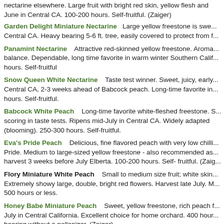nectarine elsewhere. Large fruit with bright red skin, yellow flesh and June in Central CA. 100-200 hours. Self-fruitful. (Zaiger)
Garden Delight Miniature Nectarine   Large yellow freestone is swe... Central CA. Heavy bearing 5-6 ft. tree, easily covered to protect from f...
Panamint Nectarine   Attractive red-skinned yellow freestone. Aroma... balance. Dependable, long time favorite in warm winter Southern Calif... hours. Self-fruitful
Snow Queen White Nectarine   Taste test winner. Sweet, juicy, early... Central CA, 2-3 weeks ahead of Babcock peach. Long-time favorite in... hours. Self-fruitful.
Babcock White Peach   Long-time favorite white-fleshed freestone. S... scoring in taste tests. Ripens mid-July in Central CA. Widely adapted (blooming). 250-300 hours. Self-fruitful.
Eva's Pride Peach   Delicious, fine flavored peach with very low chilli... Pride. Medium to large-sized yellow freestone - also recommended as... harvest 3 weeks before July Elberta. 100-200 hours. Self- fruitful. (Zaig...
Flory Miniature White Peach   Small to medium size fruit; white skin... Extremely showy large, double, bright red flowers. Harvest late July. M... 500 hours or less.
Honey Babe Miniature Peach   Sweet, yellow freestone, rich peach f... July in Central California. Excellent choice for home orchard. 400 hour... bearing without a pollenizer. (Zaiger)
July (Kim) Elberta Peach   Reliable heavy crops. Juicy, sweet, very f...